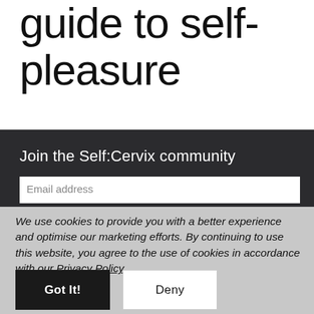guide to self-pleasure
Join the Self:Cervix community
Email address
We use cookies to provide you with a better experience and optimise our marketing efforts. By continuing to use this website, you agree to the use of cookies in accordance with our Privacy Policy.
Got It!
Deny